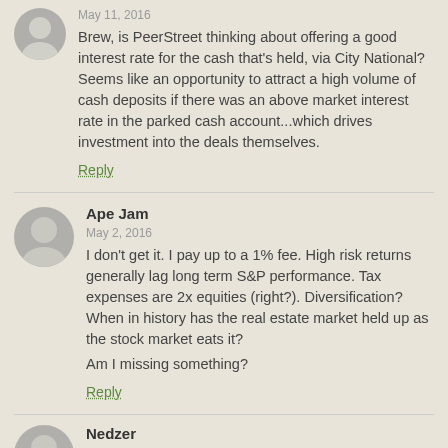May 11, 2016
Brew, is PeerStreet thinking about offering a good interest rate for the cash that's held, via City National? Seems like an opportunity to attract a high volume of cash deposits if there was an above market interest rate in the parked cash account...which drives investment into the deals themselves.
Reply
Ape Jam
May 2, 2016
I don't get it. I pay up to a 1% fee. High risk returns generally lag long term S&P performance. Tax expenses are 2x equities (right?). Diversification? When in history has the real estate market held up as the stock market eats it?

Am I missing something?
Reply
Nedzer